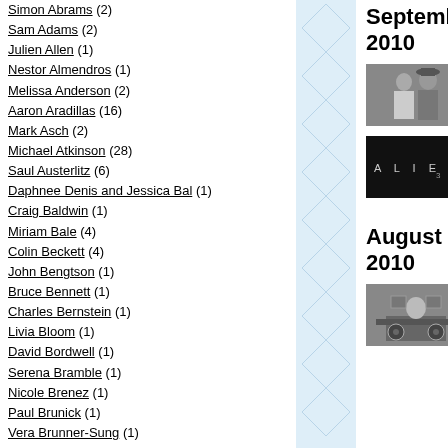Simon Abrams (2)
Sam Adams (2)
Julien Allen (1)
Nestor Almendros (1)
Melissa Anderson (2)
Aaron Aradillas (16)
Mark Asch (2)
Michael Atkinson (28)
Saul Austerlitz (6)
Daphnee Denis and Jessica Bal (1)
Craig Baldwin (1)
Miriam Bale (4)
Colin Beckett (4)
John Bengtson (1)
Bruce Bennett (1)
Charles Bernstein (1)
Livia Bloom (1)
David Bordwell (1)
Serena Bramble (1)
Nicole Brenez (1)
Paul Brunick (1)
Vera Brunner-Sung (1)
David Cairns (8)
Ken Cancelosi (1)
September 2010
[Figure (photo): Two men in a scene, one in white shirt, one in suit and hat]
Gr... An... by...
[Figure (photo): ALIENS title card on black background]
Gr... An... by...
August 2010
[Figure (photo): Black and white photo of a man at a desk with recording equipment]
Ra... A s... by...